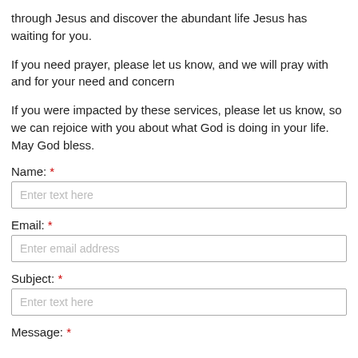through Jesus and discover the abundant life Jesus has waiting for you.
If you need prayer, please let us know, and we will pray with and for your need and concern
If you were impacted by these services, please let us know, so we can rejoice with you about what God is doing in your life.  May God bless.
Name: *
Enter text here
Email: *
Enter email address
Subject: *
Enter text here
Message: *